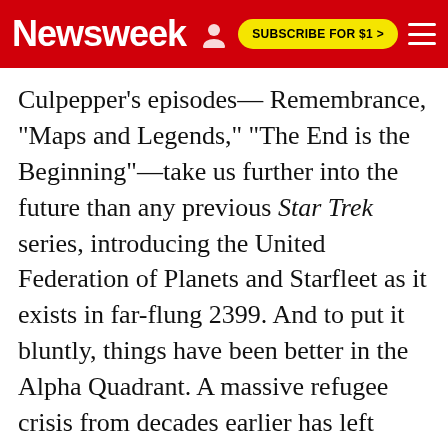Newsweek
Culpepper's episodes— Remembrance, "Maps and Legends," "The End is the Beginning"—take us further into the future than any previous Star Trek series, introducing the United Federation of Planets and Starfleet as it exists in far-flung 2399. And to put it bluntly, things have been better in the Alpha Quadrant. A massive refugee crisis from decades earlier has left Starfleet bunkered and unsure of its role in the galaxy, while the promise of a new dawn—the advent of synthetic life—was brought crashing down by an attack on the